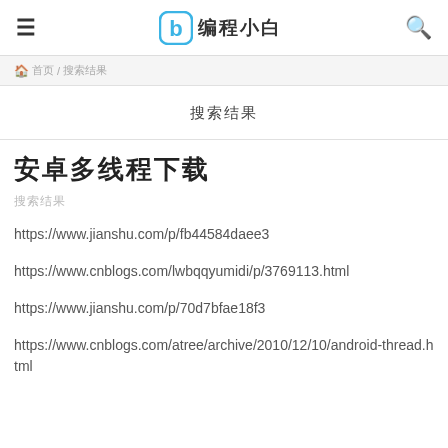≡  编程小白  🔍
🏠 首页 / 搜索结果
搜索结果
安卓多线程下载
搜索结果
https://www.jianshu.com/p/fb44584daee3
https://www.cnblogs.com/lwbqqyumidi/p/3769113.html
https://www.jianshu.com/p/70d7bfae18f3
https://www.cnblogs.com/atree/archive/2010/12/10/android-thread.html